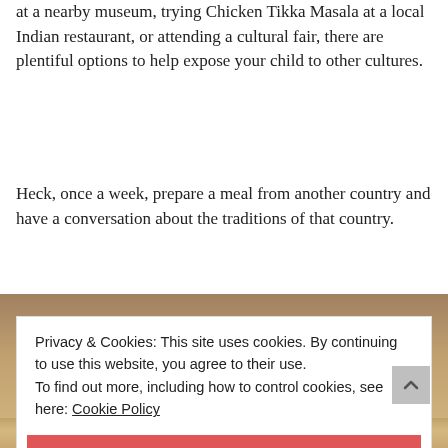at a nearby museum, trying Chicken Tikka Masala at a local Indian restaurant, or attending a cultural fair, there are plentiful options to help expose your child to other cultures.
Heck, once a week, prepare a meal from another country and have a conversation about the traditions of that country.
[Figure (photo): Photo of food or cultural scene, partially visible behind a cookie consent banner]
Privacy & Cookies: This site uses cookies. By continuing to use this website, you agree to their use.
To find out more, including how to control cookies, see here: Cookie Policy
CLOSE AND ACCEPT